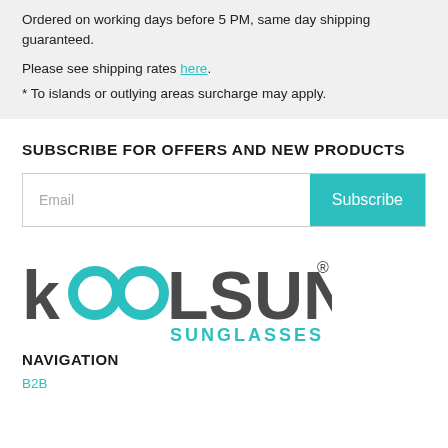Ordered on working days before 5 PM, same day shipping guaranteed.
Please see shipping rates here.
* To islands or outlying areas surcharge may apply.
SUBSCRIBE FOR OFFERS AND NEW PRODUCTS
[Figure (other): Email subscription form with text input and Subscribe button]
[Figure (logo): Koolsun Sunglasses logo with stylized text]
NAVIGATION
B2B